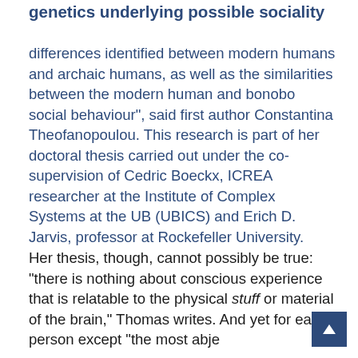genetics underlying possible sociality
differences identified between modern humans and archaic humans, as well as the similarities between the modern human and bonobo social behaviour", said first author Constantina Theofanopoulou. This research is part of her doctoral thesis carried out under the co-supervision of Cedric Boeckx, ICREA researcher at the Institute of Complex Systems at the UB (UBICS) and Erich D. Jarvis, professor at Rockefeller University.
Her thesis, though, cannot possibly be true: "there is nothing about conscious experience that is relatable to the physical stuff or material of the brain," Thomas writes. And yet for each person except "the most abje...